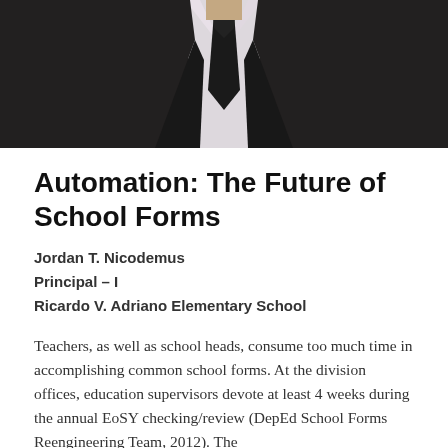[Figure (photo): Photo of a person wearing a dark suit and black tie with a light pink shirt, cropped to show torso/neck area]
Automation: The Future of School Forms
Jordan T. Nicodemus
Principal – I
Ricardo V. Adriano Elementary School
Teachers, as well as school heads, consume too much time in accomplishing common school forms. At the division offices, education supervisors devote at least 4 weeks during the annual EoSY checking/review (DepEd School Forms Reengineering Team, 2012). The